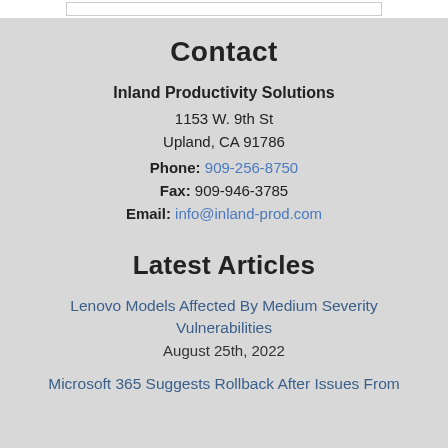Contact
Inland Productivity Solutions
1153 W. 9th St
Upland, CA 91786
Phone: 909-256-8750
Fax: 909-946-3785
Email: info@inland-prod.com
Latest Articles
Lenovo Models Affected By Medium Severity Vulnerabilities
August 25th, 2022
Microsoft 365 Suggests Rollback After Issues From